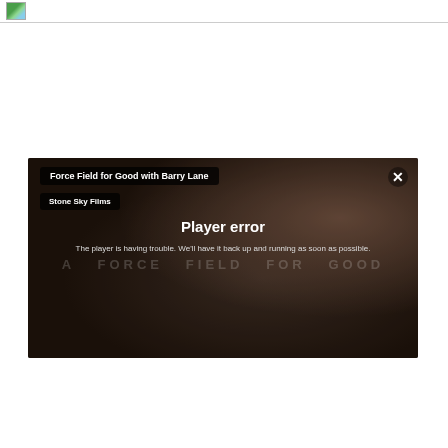[Figure (screenshot): Video player showing error state. Title: 'Force Field for Good with Barry Lane', Channel: 'Stone Sky Films'. Error message: 'Player error - The player is having trouble. We'll have it back up and running as soon as possible.' Background shows dark cinematic scene with audience. Watermark text: 'A FORCE FIELD FOR GOOD']